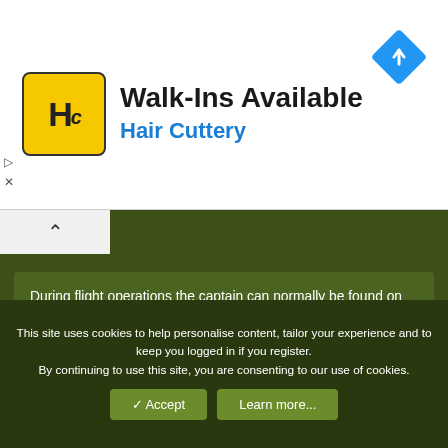[Figure (logo): Hair Cuttery advertisement banner with yellow HC logo, text 'Walk-Ins Available' and 'Hair Cuttery', and a blue navigation diamond icon]
During flight operations the captain can normally be found on the bridge directly involved in the mechanics of positioning and preparing the ship for launch and recovery of aircraft, ensuring the safe navigation of the ship and overseeing flight deck operations.
Early morning underway replenishments alongside a fleet oiler, navigation of straits or other areas that restrict the carrier's ability to maneuver and entering or leaving ports are all frequently occurring evolutions requiring the captain's presence on the bridge.
This site uses cookies to help personalise content, tailor your experience and to keep you logged in if you register.
By continuing to use this site, you are consenting to our use of cookies.